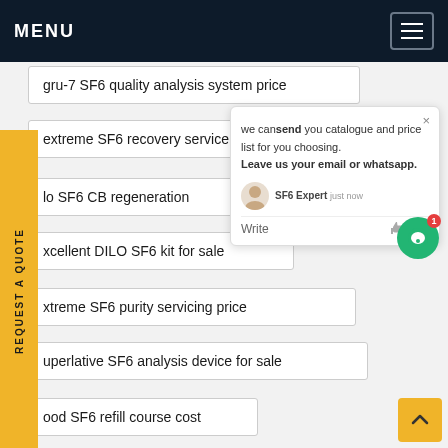MENU
gru-7 SF6 quality analysis system price
extreme SF6 recovery service
lo SF6 CB regeneration
xcellent DILO SF6 kit for sale
xtreme SF6 purity servicing price
uperlative SF6 analysis device for sale
ood SF6 refill course cost
REQUEST A QUOTE
we can send you catalogue and price list for you choosing. Leave us your email or whatsapp.
SF6 Expert  just now
Write